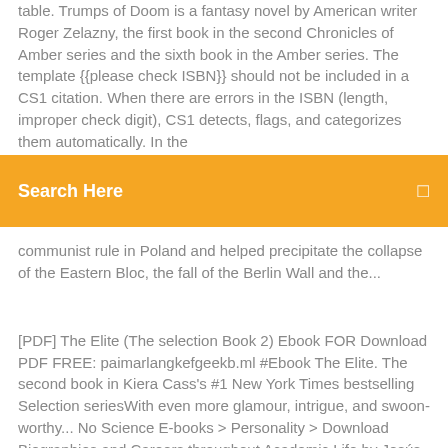table. Trumps of Doom is a fantasy novel by American writer Roger Zelazny, the first book in the second Chronicles of Amber series and the sixth book in the Amber series. The template {{please check ISBN}} should not be included in a CS1 citation. When there are errors in the ISBN (length, improper check digit), CS1 detects, flags, and categorizes them automatically. In the
Search Here
communist rule in Poland and helped precipitate the collapse of the Eastern Bloc, the fall of the Berlin Wall and the...
[PDF] The Elite (The selection Book 2) Ebook FOR Download PDF FREE: paimarlangkefgeekb.ml #Ebook The Elite. The second book in Kiera Cass's #1 New York Times bestselling Selection seriesWith even more glamour, intrigue, and swoon-worthy... No Science E-books > Personality > Download Biographies and Careers throughout Academic Life by Jesús F. Galaz-Fontes, Akira Arimoto, Ulrich Teichler, John PDF